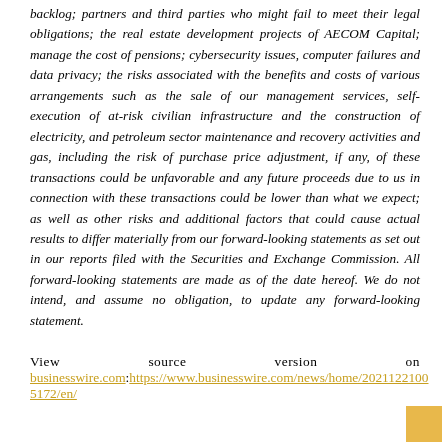backlog; partners and third parties who might fail to meet their legal obligations; the real estate development projects of AECOM Capital; manage the cost of pensions; cybersecurity issues, computer failures and data privacy; the risks associated with the benefits and costs of various arrangements such as the sale of our management services, self-execution of at-risk civilian infrastructure and the construction of electricity, and petroleum sector maintenance and recovery activities and gas, including the risk of purchase price adjustment, if any, of these transactions could be unfavorable and any future proceeds due to us in connection with these transactions could be lower than what we expect; as well as other risks and additional factors that could cause actual results to differ materially from our forward-looking statements as set out in our reports filed with the Securities and Exchange Commission. All forward-looking statements are made as of the date hereof. We do not intend, and assume no obligation, to update any forward-looking statement.
View source version on businesswire.com:https://www.businesswire.com/news/home/20211221005172/en/